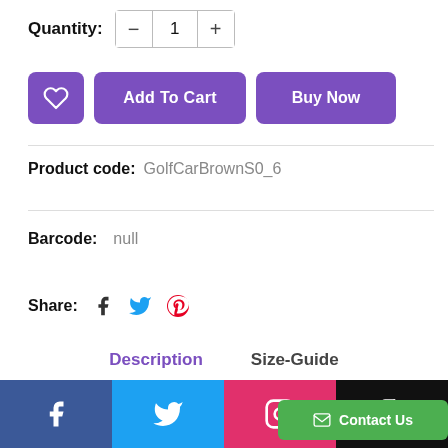Quantity: - 1 +
Add To Cart | Buy Now
Product code: GolfCarBrownS0_6
Barcode: null
Share:
Description   Size-Guide
Carozoo's soft sole shoes are carefully
Contact Us